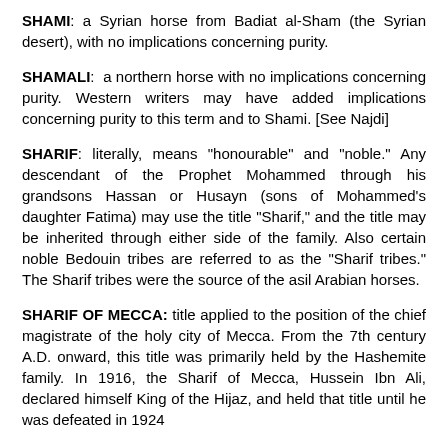SHAMI: a Syrian horse from Badiat al-Sham (the Syrian desert), with no implications concerning purity.
SHAMALI: a northern horse with no implications concerning purity. Western writers may have added implications concerning purity to this term and to Shami. [See Najdi]
SHARIF: literally, means "honourable" and "noble." Any descendant of the Prophet Mohammed through his grandsons Hassan or Husayn (sons of Mohammed's daughter Fatima) may use the title "Sharif," and the title may be inherited through either side of the family. Also certain noble Bedouin tribes are referred to as the "Sharif tribes." The Sharif tribes were the source of the asil Arabian horses.
SHARIF OF MECCA: title applied to the position of the chief magistrate of the holy city of Mecca. From the 7th century A.D. onward, this title was primarily held by the Hashemite family. In 1916, the Sharif of Mecca, Hussein Ibn Ali, declared himself King of the Hijaz, and held that title until he was defeated in 1924